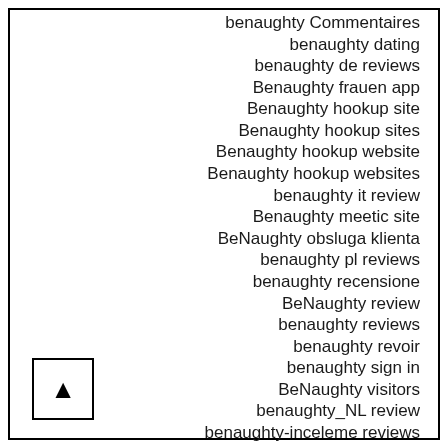benaughty Commentaires
benaughty dating
benaughty de reviews
Benaughty frauen app
Benaughty hookup site
Benaughty hookup sites
Benaughty hookup website
Benaughty hookup websites
benaughty it review
Benaughty meetic site
BeNaughty obsluga klienta
benaughty pl reviews
benaughty recensione
BeNaughty review
benaughty reviews
benaughty revoir
benaughty sign in
BeNaughty visitors
benaughty_NL review
benaughty-inceleme reviews
benaughty-overzicht online dating
benaughty-overzicht Review
benaughty.reviews revoir
bend escort directory
bend escort near me
bend escort review
bend escort service